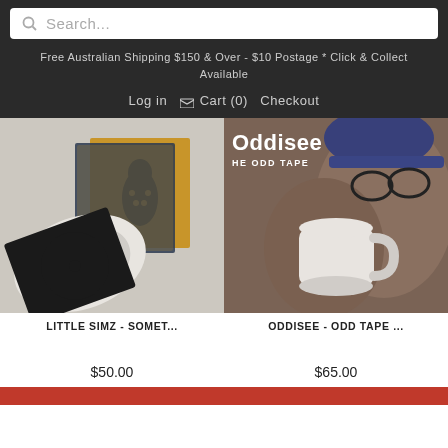Search...
Free Australian Shipping $150 & Over - $10 Postage * Click & Collect Available
Log in   Cart (0)   Checkout
[Figure (photo): Product photo of Little Simz vinyl record with album cover on grey background]
[Figure (photo): Product photo for Oddisee - Odd Tape showing artist holding a white coffee mug]
LITTLE SIMZ - SOMET...
ODDISEE - ODD TAPE ...
$50.00
$65.00